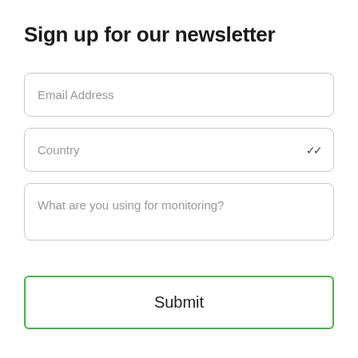Sign up for our newsletter
Email Address
Country
What are you using for monitoring?
Submit